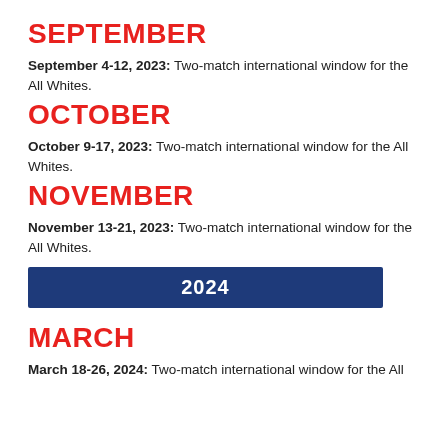SEPTEMBER
September 4-12, 2023: Two-match international window for the All Whites.
OCTOBER
October 9-17, 2023: Two-match international window for the All Whites.
NOVEMBER
November 13-21, 2023: Two-match international window for the All Whites.
2024
MARCH
March 18-26, 2024: Two-match international window for the All